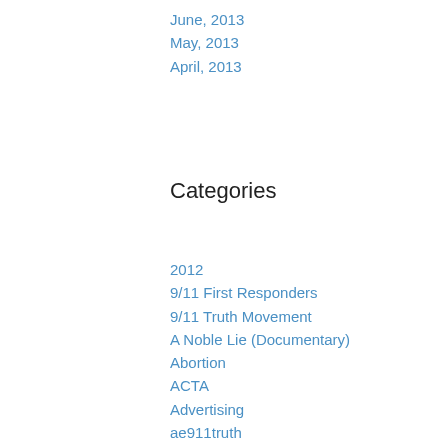June, 2013
May, 2013
April, 2013
Categories
2012
9/11 First Responders
9/11 Truth Movement
A Noble Lie (Documentary)
Abortion
ACTA
Advertising
ae911truth
Afghanistan
Agenda 21
Aidan Killian
AIDS
Aldous Huxley
Alex Jones
Alternate Currencies
alternative energy
Amber Lyon